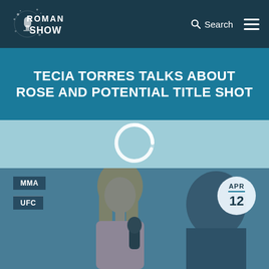[Figure (logo): Roman Show logo — white stylized text on dark navy background]
TECIA TORRES TALKS ABOUT ROSE AND POTENTIAL TITLE SHOT
[Figure (other): Loading spinner circle on light blue background]
[Figure (photo): Photo of a woman with long blonde hair being interviewed, holding a microphone, with a man facing away. Tags MMA and UFC visible. APR 12 date badge.]